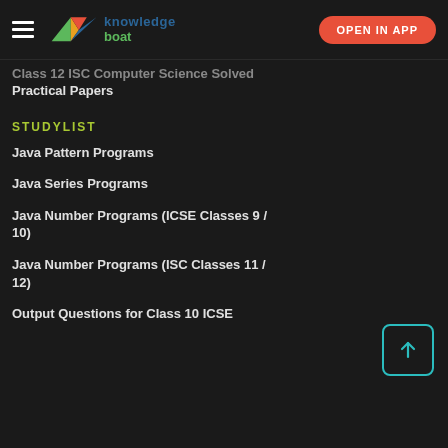knowledge boat — OPEN IN APP
Class 12 ISC Computer Science Solved Practical Papers
STUDYLIST
Java Pattern Programs
Java Series Programs
Java Number Programs (ICSE Classes 9 / 10)
Java Number Programs (ISC Classes 11 / 12)
Output Questions for Class 10 ICSE